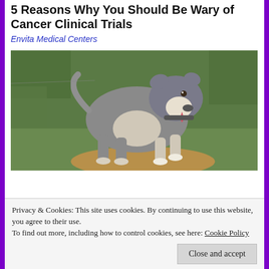5 Reasons Why You Should Be Wary of Cancer Clinical Trials
Envita Medical Centers
[Figure (photo): A stocky gray and white pit bull dog standing on grass and dirt, facing slightly left, outdoors with green foliage in the background.]
Privacy & Cookies: This site uses cookies. By continuing to use this website, you agree to their use.
To find out more, including how to control cookies, see here: Cookie Policy
Close and accept